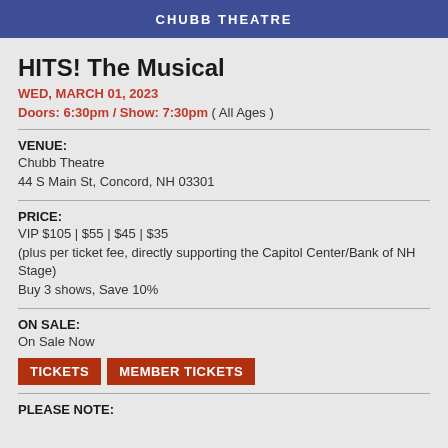CHUBB THEATRE
HITS! The Musical
WED, MARCH 01, 2023
Doors: 6:30pm / Show: 7:30pm ( All Ages )
VENUE:
Chubb Theatre
44 S Main St, Concord, NH 03301
PRICE:
VIP $105 | $55 | $45 | $35
(plus per ticket fee, directly supporting the Capitol Center/Bank of NH Stage)
Buy 3 shows, Save 10%
ON SALE:
On Sale Now
TICKETS   MEMBER TICKETS
PLEASE NOTE: